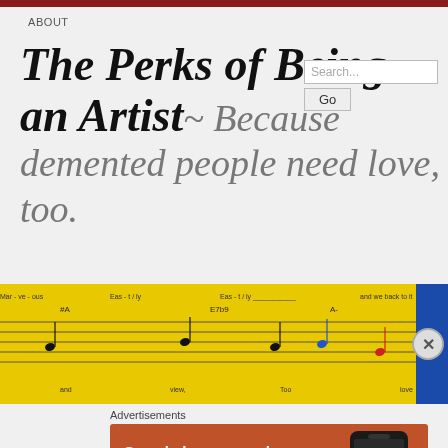ABOUT
The Perks of Being an Artist ~ Because demented people need love, too.
[Figure (other): Music sheet notation banner on yellow background with blue accent on right side]
Advertisements
[Figure (other): DuckDuckGo advertisement: Search, browse, and email with more privacy. All in One Free App. Shows a phone with DuckDuckGo logo on orange/red background.]